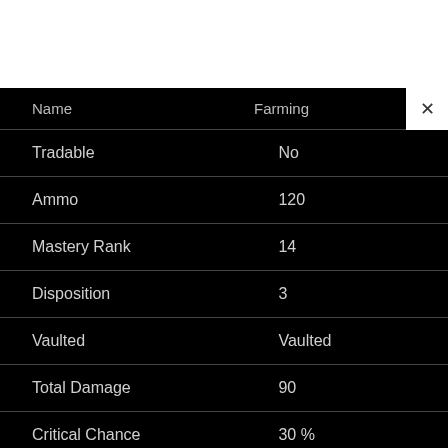| Name | Farming |
| --- | --- |
| Tradable | No |
| Ammo | 120 |
| Mastery Rank | 14 |
| Disposition | 3 |
| Vaulted | Vaulted |
| Total Damage | 90 |
| Critical Chance | 30 % |